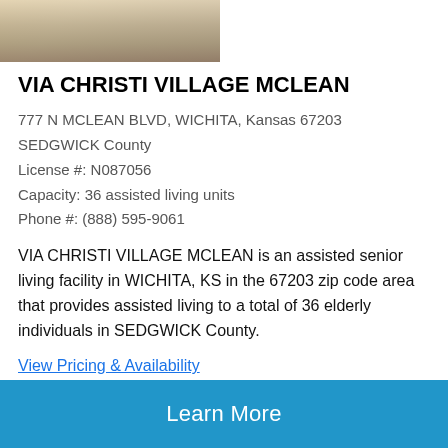[Figure (photo): Partial photo of an elderly person, cropped at top of page]
VIA CHRISTI VILLAGE MCLEAN
777 N MCLEAN BLVD, WICHITA, Kansas 67203
SEDGWICK County
License #: N087056
Capacity: 36 assisted living units
Phone #: (888) 595-9061
VIA CHRISTI VILLAGE MCLEAN is an assisted senior living facility in WICHITA, KS in the 67203 zip code area that provides assisted living to a total of 36 elderly individuals in SEDGWICK County.
View Pricing & Availability
[Figure (other): 4 out of 5 green stars rating]
Learn More